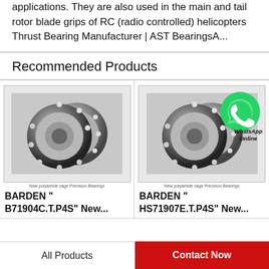applications. They are also used in the main and tail rotor blade grips of RC (radio controlled) helicopters Thrust Bearing Manufacturer | AST BearingsA...
Recommended Products
[Figure (photo): Precision bearing product image - two angular contact ball bearings with polyamide cage, labeled 'New polyamide cage Precision Bearings']
BARDEN " B71904C.T.P4S" New...
[Figure (photo): Precision bearing product image with WhatsApp Online overlay - angular contact ball bearings with polyamide cage, labeled 'New polyamide cage Precision Bearings']
BARDEN " HS71907E.T.P4S" New...
All Products
Contact Now